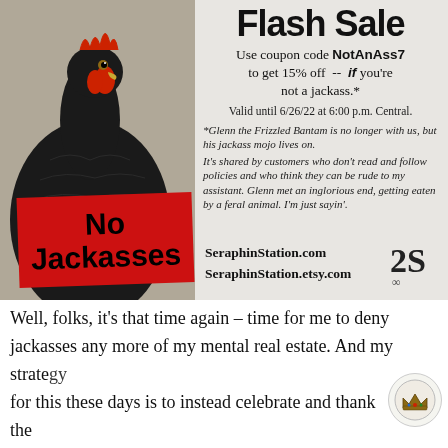[Figure (photo): Black rooster (Frizzled Bantam) photo on left side of ad banner, with red 'No Jackasses' badge overlaid]
Flash Sale
Use coupon code NotAnAss7 to get 15% off -- if you're not a jackass.*
Valid until 6/26/22 at 6:00 p.m. Central.
*Glenn the Frizzled Bantam is no longer with us, but his jackass mojo lives on. It's shared by customers who don't read and follow policies and who think they can be rude to my assistant. Glenn met an inglorious end, getting eaten by a feral animal. I'm just sayin'.
SeraphinStation.com
SeraphinStation.etsy.com
Well, folks, it's that time again – time for me to deny jackasses any more of my mental real estate. And my strategy for this these days is to instead celebrate and thank the customers and clients I have who aren't jackasses and wh…